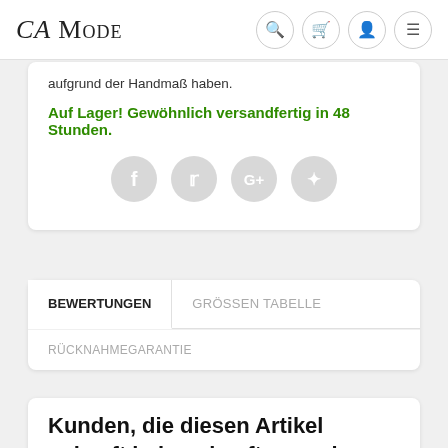CA MODE
aufgrund der Handmaß haben.
Auf Lager! Gewöhnlich versandfertig in 48 Stunden.
[Figure (other): Social media share icons: Facebook, Twitter, Google+, Pinterest]
BEWERTUNGEN | GRÖSSEN TABELLE | RÜCKNAHMEGARANTIE
Kunden, die diesen Artikel gekauft haben, kauften auch